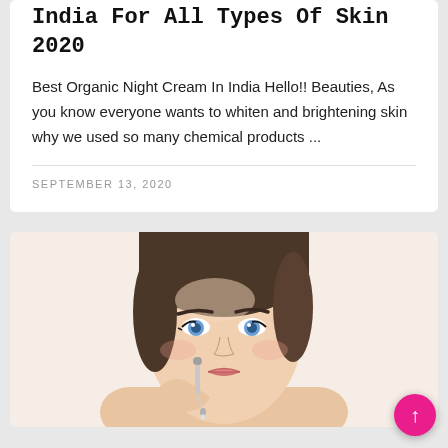India For All Types Of Skin 2020
Best Organic Night Cream In India Hello!! Beauties, As you know everyone wants to whiten and brightening skin why we used so many chemical products ...
SEPTEMBER 13, 2020
[Figure (photo): Woman holding a dropper/serum applicator near her eye, white background, beauty/skincare product photo]